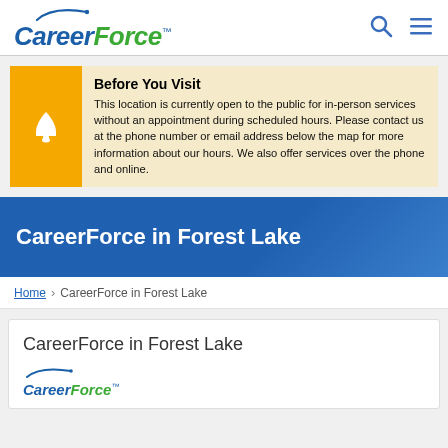[Figure (logo): CareerForce logo with swoosh and search/menu icons in header]
Before You Visit
This location is currently open to the public for in-person services without an appointment during scheduled hours. Please contact us at the phone number or email address below the map for more information about our hours. We also offer services over the phone and online.
CareerForce in Forest Lake
Home > CareerForce in Forest Lake
CareerForce in Forest Lake
[Figure (logo): CareerForce logo inside card]